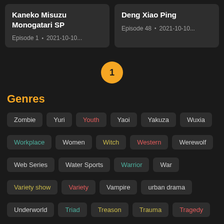Kaneko Misuzu Monogatari SP
Episode 1 • 2021-10-10...
Deng Xiao Ping
Episode 48 • 2021-10-10...
1
Genres
Zombie
Yuri
Youth
Yaoi
Yakuza
Wuxia
Workplace
Women
Witch
Western
Werewolf
Web Series
Water Sports
Warrior
War
Variety show
Variety
Vampire
urban drama
Underworld
Triad
Treason
Trauma
Tragedy